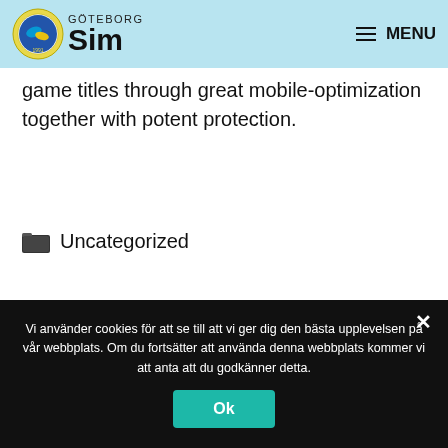[Figure (logo): Göteborg Sim logo with circular emblem and text]
game titles through great mobile-optimization together with potent protection.
Uncategorized
Vi använder cookies för att se till att vi ger dig den bästa upplevelsen på vår webbplats. Om du fortsätter att använda denna webbplats kommer vi att anta att du godkänner detta.